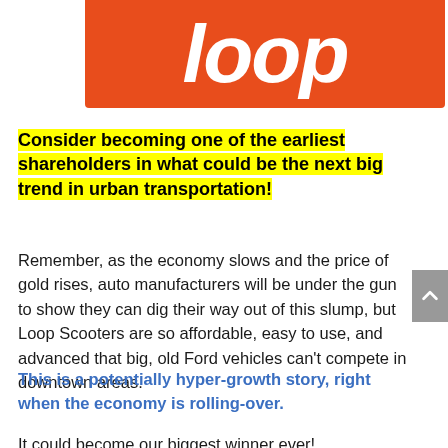[Figure (logo): Loop Scooters orange logo with white italic bold 'loop' text on orange background]
Consider becoming one of the earliest shareholders in what could be the next big trend in urban transportation!
Remember, as the economy slows and the price of gold rises, auto manufacturers will be under the gun to show they can dig their way out of this slump, but Loop Scooters are so affordable, easy to use, and advanced that big, old Ford vehicles can't compete in downtown areas.
This is a potentially hyper-growth story, right when the economy is rolling-over.
It could become our biggest winner ever!